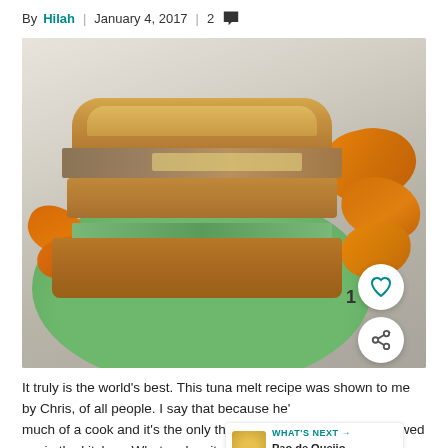By Hilah | January 4, 2017 | 2 [comments]
[Figure (photo): A tuna melt sandwich cut in half and stacked on a green plate, served with sweet potato chips on the side.]
It truly is the world’s best. This tuna melt recipe was shown to me by Chris, of all people. I say that because he’s not much of a cook and it’s the only thing I can reca... showed me in the kitchen. What makes it super special is the pineapple! Before you...